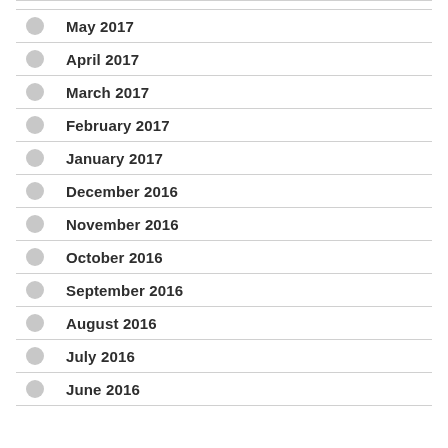May 2017
April 2017
March 2017
February 2017
January 2017
December 2016
November 2016
October 2016
September 2016
August 2016
July 2016
June 2016